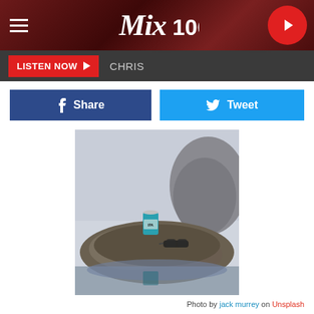Mix 106
LISTEN NOW  CHRIS
Share
Tweet
[Figure (photo): An IPA beer can sitting on rocky terrain outdoors, with sunglasses nearby, water reflection visible below]
Photo by jack murrey on Unsplash